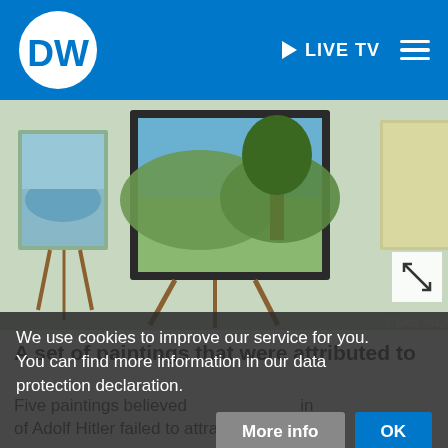DW | LIVE TV
[Figure (photo): Paintings on easels displayed at an auction, landscape paintings in wooden frames]
© Getty Images/AFP Kaufmann
A set of paintings that were attributed to Adolf Hitler have failed to find buyers at a highly controversial auction. The sale took place after a number of paintings were seized on suspicion they were fake.
We use cookies to improve our service for you. You can find more information in our data protection declaration.
Five paintings believed to in of Adolf Hitler failed to attract buyers on